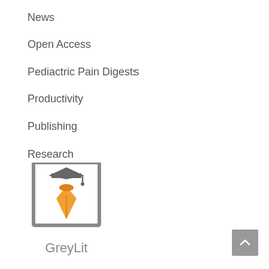News
Open Access
Pediatric Pain Digests
Productivity
Publishing
Research
[Figure (logo): GreyLit logo: a square border containing a graduation cap icon above an orange pen nib, with the text 'GreyLit' below in grey]
[Figure (other): Scroll-to-top button: grey rounded rectangle with upward chevron arrow]